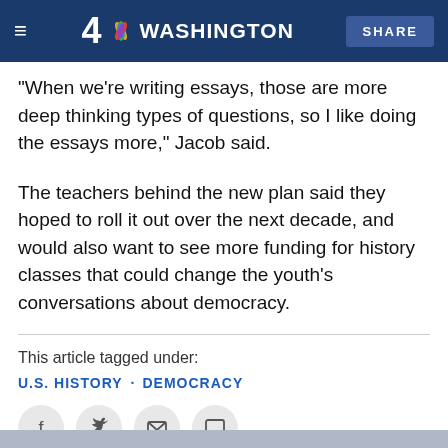4 NBC WASHINGTON | SHARE
“When we’re writing essays, those are more deep thinking types of questions, so I like doing the essays more,” Jacob said.
The teachers behind the new plan said they hoped to roll it out over the next decade, and would also want to see more funding for history classes that could change the youth’s conversations about democracy.
This article tagged under:
U.S. HISTORY • DEMOCRACY